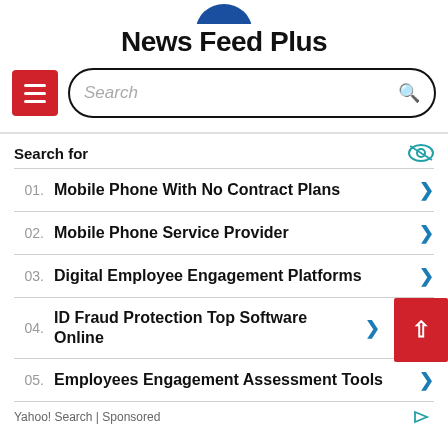News Feed Plus
[Figure (logo): Partial blue circle logo at top center]
Search for
01. Mobile Phone With No Contract Plans
02. Mobile Phone Service Provider
03. Digital Employee Engagement Platforms
04. ID Fraud Protection Top Software Online
05. Employees Engagement Assessment Tools
Yahoo! Search | Sponsored